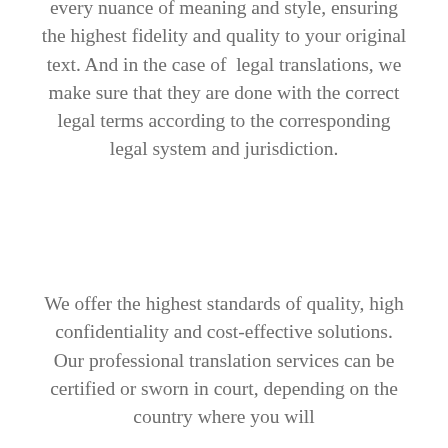every nuance of meaning and style, ensuring the highest fidelity and quality to your original text. And in the case of legal translations, we make sure that they are done with the correct legal terms according to the corresponding legal system and jurisdiction.
We offer the highest standards of quality, high confidentiality and cost-effective solutions. Our professional translation services can be certified or sworn in court, depending on the country where you will